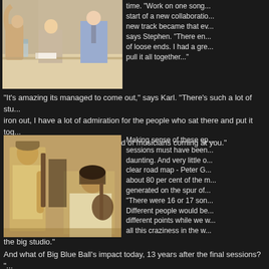[Figure (photo): Color photo of people seated at a conference table, appears to be a panel or meeting session]
time. "Work on one song...start of a new collaboration...new track became that ev...says Stephen. "There en...of loose ends. I had a gre...pull it all together..."
"It's amazing its managed to come out," says Karl. "There's such a lot of stu...iron out, I have a lot of admiration for the people who sat there and put it tog...tracks it's like there's a football field of musicians coming at you."
[Figure (photo): Sepia-toned photo of two musicians playing guitar together in what appears to be a studio setting]
Making sense of these ep...sessions must have been...daunting. And very little o...clear road map - Peter G...about 80 per cent of the m...generated on the spur of..."There were 16 or 17 son...Different people would be...different points while we w...all this craziness in the w...the big studio."
And what of Big Blue Ball's impact today, 13 years after the final sessions? "...time to release it now than ever before," says Karl. "I think it's actually gathe...